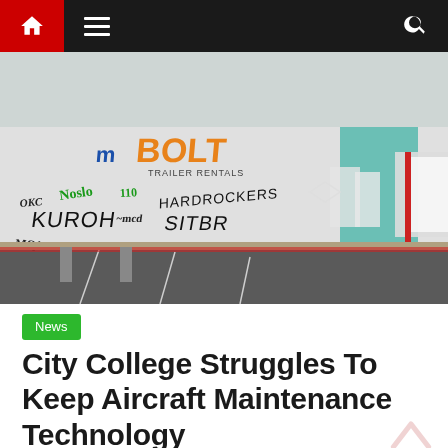Navigation bar with home, menu, and search icons
[Figure (photo): Row of large white semi-truck trailers with graffiti tags in a parking lot. The nearest trailer has 'BOLT TRAILER RENTALS' branding and multiple graffiti tags including 'HARDROCKERS', 'KUROH', 'NASLO' and others. A red pole is visible in the background on the right.]
News
City College Struggles To Keep Aircraft Maintenance Technology Program Aloft